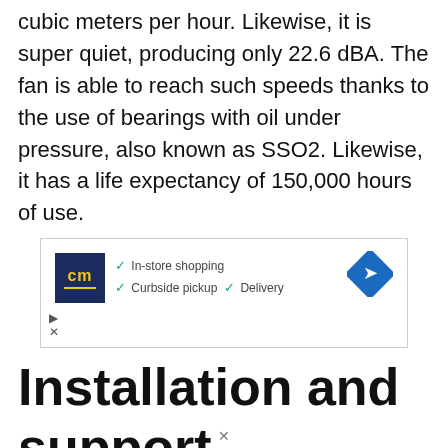cubic meters per hour. Likewise, it is super quiet, producing only 22.6 dBA. The fan is able to reach such speeds thanks to the use of bearings with oil under pressure, also known as SSO2. Likewise, it has a life expectancy of 150,000 hours of use.
[Figure (other): Advertisement banner with CM logo, navigation diamond icon, and text: In-store shopping, Curbside pickup, Delivery with checkmarks]
Installation and support